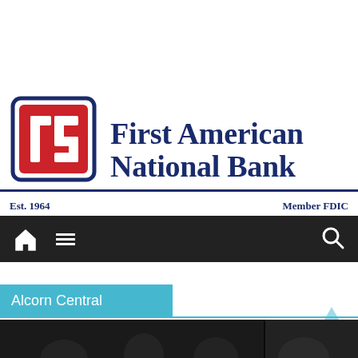[Figure (logo): First American National Bank logo with stylized '1st' icon in red and blue square, Est. 1964, Member FDIC]
[Figure (screenshot): Website navigation bar with home icon, hamburger menu icon, and search icon on dark background]
Alcorn Central
[Figure (photo): Dark photograph partially visible at bottom of page]